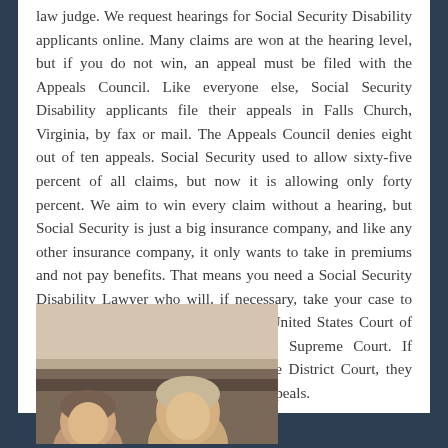law judge.  We request hearings for Social Security Disability applicants online. Many claims are won at the hearing level, but if you do not win, an appeal must be filed with the Appeals Council.  Like everyone else, Social Security Disability applicants file their appeals in Falls Church, Virginia, by fax or mail.  The Appeals Council denies eight out of ten appeals.  Social Security used to allow sixty-five percent of all claims, but now it is allowing only forty percent.  We aim to win every claim without a hearing, but Social Security is just a big insurance company, and like any other insurance company, it only wants to take in premiums and not pay benefits.  That means you need a Social Security Disability Lawyer who will, if necessary, take your case to the United States District Court, the United States Court of Appeals, or even the United States Supreme Court.  If disability applicants do not win in the District Court, they appeal to the United States Court of Appeals.
[Figure (photo): A photograph showing two people, appearing to be in an indoor setting with a neutral background wall. The image is partially cropped showing the upper portions of the subjects.]